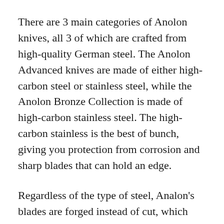There are 3 main categories of Anolon knives, all 3 of which are crafted from high-quality German steel. The Anolon Advanced knives are made of either high-carbon steel or stainless steel, while the Anolon Bronze Collection is made of high-carbon stainless steel. The high-carbon stainless is the best of bunch, giving you protection from corrosion and sharp blades that can hold an edge.
Regardless of the type of steel, Analon's blades are forged instead of cut, which makes them sharper and able to handle more abuse. Analon knife sets are slightly cheaper than other knives in their class because they are made in China, but don't automatically categorize them